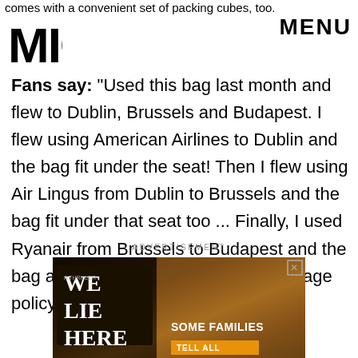comes with a convenient set of packing cubes, too.
[Figure (logo): MIC logo in black bold letters]
MENU
Fans say: "Used this bag last month and flew to Dublin, Brussels and Budapest. I flew using American Airlines to Dublin and the bag fit under the seat! Then I flew using Air Lingus from Dublin to Brussels and the bag fit under that seat too ... Finally, I used Ryanair from Brussels to Budapest and the bag also passed Ryanair's strict baggage policy without any trouble."
ADVERTISEMENT
[Figure (photo): Book advertisement for 'We Lie Here' thriller novel with text 'SOME FAMILIES' and an orange bar at the bottom]